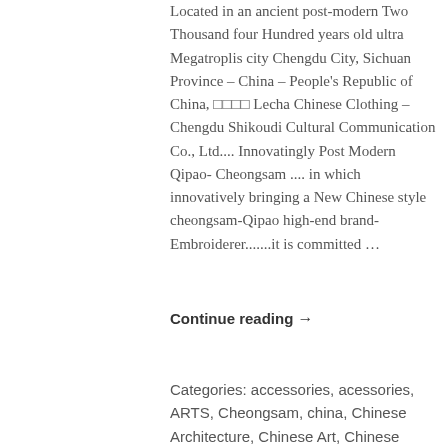Located in an ancient post-modern Two Thousand four Hundred years old ultra Megatroplis city Chengdu City, Sichuan Province – China – People's Republic of China, □□□□ Lecha Chinese Clothing – Chengdu Shikoudi Cultural Communication Co., Ltd.... Innovatingly Post Modern Qipao- Cheongsam .... in which innovatively bringing a New Chinese style cheongsam-Qipao high-end brand-Embroiderer.......it is committed ...
Continue reading →
Categories: accessories, acessories, ARTS, Cheongsam, china, Chinese Architecture, Chinese Art, Chinese Artist, Chinese Arts, Chinese Artwork, Chinese Artwork - Paintings, Chinese Artworks, Chinese bridal